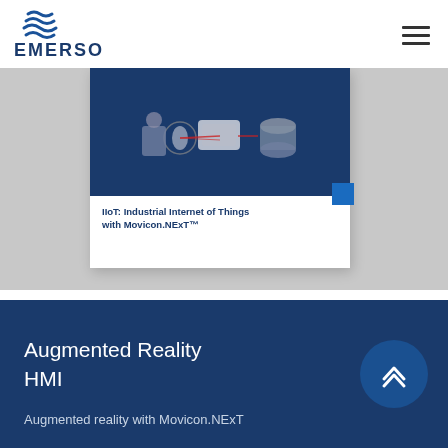[Figure (logo): Emerson logo with blue wave/stripe icon above the EMERSON. wordmark]
[Figure (screenshot): Screenshot of a card showing IIoT Industrial Internet of Things with Movicon.NExT diagram on dark blue background with network nodes]
Augmented Reality
HMI
Augmented reality with Movicon.NExT